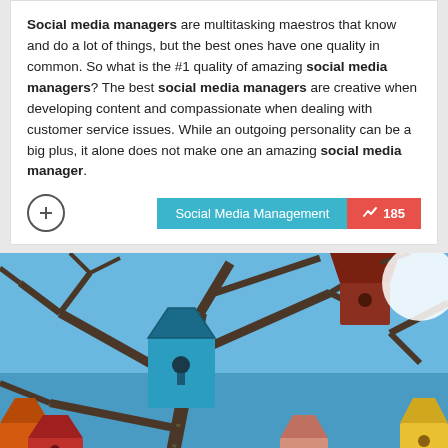Social media managers are multitasking maestros that know and do a lot of things, but the best ones have one quality in common. So what is the #1 quality of amazing social media managers? The best social media managers are creative when developing content and compassionate when dealing with customer service issues. While an outgoing personality can be a big plus, it alone does not make one an amazing social media manager.
[Figure (photo): Photo of colorful wooden birdhouses mounted on bare tree branches against a blue sky. A blue birdhouse is prominent in the center, with red, orange, pink, and yellow birdhouses visible around it.]